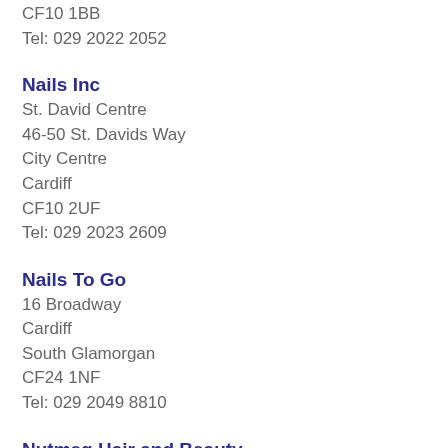CF10 1BB
Tel: 029 2022 2052
Nails Inc
St. David Centre
46-50 St. Davids Way
City Centre
Cardiff
CF10 2UF
Tel: 029 2023 2609
Nails To Go
16 Broadway
Cardiff
South Glamorgan
CF24 1NF
Tel: 029 2049 8810
Nutmeg Hair and Beauty
71 The Philog